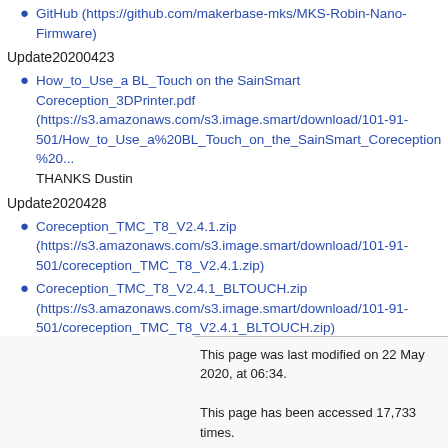GitHub (https://github.com/makerbase-mks/MKS-Robin-Nano-Firmware)
Update20200423
How_to_Use_a BL_Touch on the SainSmart Coreception_3DPrinter.pdf (https://s3.amazonaws.com/s3.image.smart/download/101-91-501/How_to_Use_a%20BL_Touch_on_the_SainSmart_Coreception%20... THANKS Dustin
Update2020428
Coreception_TMC_T8_V2.4.1.zip (https://s3.amazonaws.com/s3.image.smart/download/101-91-501/coreception_TMC_T8_V2.4.1.zip)
Coreception_TMC_T8_V2.4.1_BLTOUCH.zip (https://s3.amazonaws.com/s3.image.smart/download/101-91-501/coreception_TMC_T8_V2.4.1_BLTOUCH.zip)
Retrieved from "http://wiki.sainsmart.com/index.php?title=101-91-501&oldid=4353"
This page was last modified on 22 May 2020, at 06:34.
This page has been accessed 17,733 times.